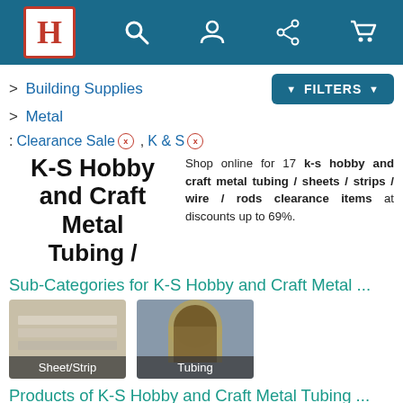H [logo] [search] [account] [share] [cart]
> Building Supplies
> Metal
: Clearance Sale x , K & S x
K-S Hobby and Craft Metal Tubing /
Shop online for 17 k-s hobby and craft metal tubing / sheets / strips / wire / rods clearance items at discounts up to 69%.
Sub-Categories for K-S Hobby and Craft Metal ...
[Figure (photo): Sheet/Strip metal category thumbnail showing flat metal sheets]
[Figure (photo): Tubing metal category thumbnail showing cylindrical metal tubes]
Products of K-S Hobby and Craft Metal Tubing ...